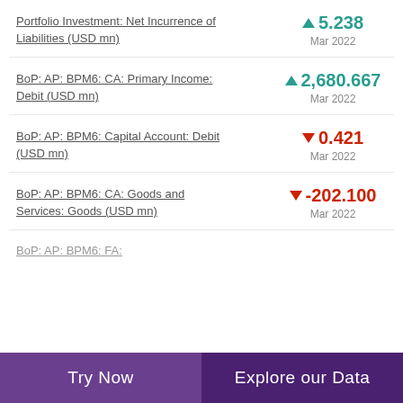Portfolio Investment: Net Incurrence of Liabilities (USD mn)
BoP: AP: BPM6: CA: Primary Income: Debit (USD mn)
BoP: AP: BPM6: Capital Account: Debit (USD mn)
BoP: AP: BPM6: CA: Goods and Services: Goods (USD mn)
BoP: AP: BPM6: FA:
Try Now | Explore our Data